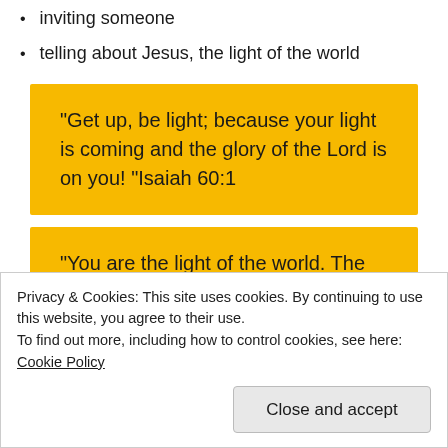inviting someone
telling about Jesus, the light of the world
"Get up, be light; because your light is coming and the glory of the Lord is on you! "Isaiah 60:1
"You are the light of the world. The city on a hill cannot be hidden. Matthew 5:14 "
Privacy & Cookies: This site uses cookies. By continuing to use this website, you agree to their use.
To find out more, including how to control cookies, see here: Cookie Policy